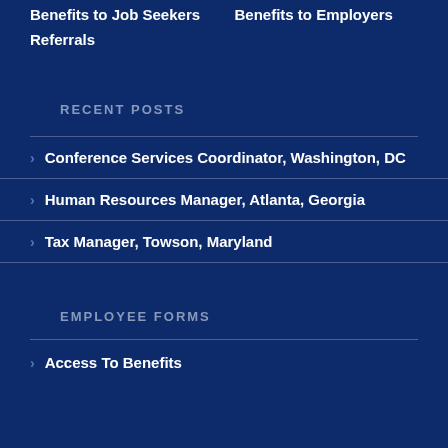Benefits to Job Seekers
Benefits to Employers
Referrals
RECENT POSTS
Conference Services Coordinator, Washington, DC
Human Resources Manager, Atlanta, Georgia
Tax Manager, Towson, Maryland
EMPLOYEE FORMS
Access To Benefits